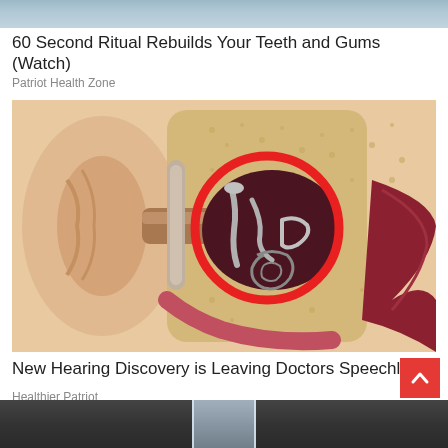[Figure (photo): Top cropped photo strip of a previous article]
60 Second Ritual Rebuilds Your Teeth and Gums (Watch)
Patriot Health Zone
[Figure (illustration): Medical illustration of a cross-section of the human ear with a large red circle highlighting the inner ear structures including ossicles and cochlea]
New Hearing Discovery is Leaving Doctors Speechless
Healthier Patriot
[Figure (photo): Bottom partial photo showing a glass of clear liquid on a dark surface]